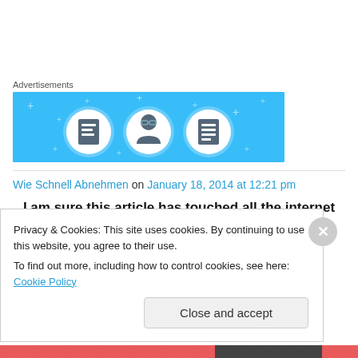Advertisements
[Figure (illustration): Blue advertisement banner with three circular icons showing a document, a person with glasses, and a list/document icon on a light blue background with decorative dots.]
Wie Schnell Abnehmen on January 18, 2014 at 12:21 pm
I am sure this article has touched all the internet
Privacy & Cookies: This site uses cookies. By continuing to use this website, you agree to their use.
To find out more, including how to control cookies, see here: Cookie Policy
Close and accept